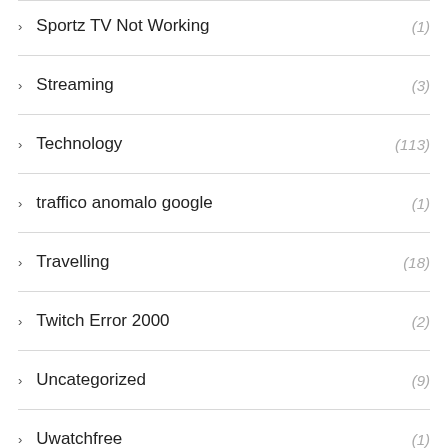Sportz TV Not Working (1)
Streaming (3)
Technology (113)
traffico anomalo google (1)
Travelling (18)
Twitch Error 2000 (2)
Uncategorized (9)
Uwatchfree (1)
WalMart (1)
Warframe Network Not Responding (1)
Website Development (28)